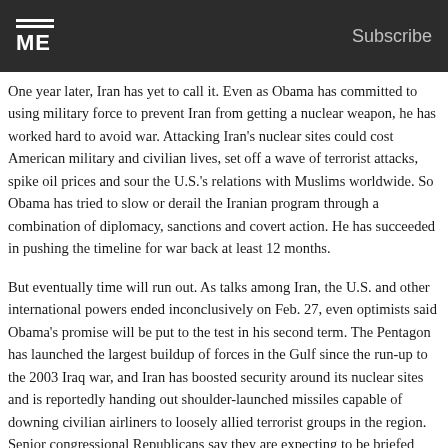ME  Subscribe
One year later, Iran has yet to call it. Even as Obama has committed to using military force to prevent Iran from getting a nuclear weapon, he has worked hard to avoid war. Attacking Iran's nuclear sites could cost American military and civilian lives, set off a wave of terrorist attacks, spike oil prices and sour the U.S.'s relations with Muslims worldwide. So Obama has tried to slow or derail the Iranian program through a combination of diplomacy, sanctions and covert action. He has succeeded in pushing the timeline for war back at least 12 months.
But eventually time will run out. As talks among Iran, the U.S. and other international powers ended inconclusively on Feb. 27, even optimists said Obama's promise will be put to the test in his second term. The Pentagon has launched the largest buildup of forces in the Gulf since the run-up to the 2003 Iraq war, and Iran has boosted security around its nuclear sites and is reportedly handing out shoulder-launched missiles capable of downing civilian airliners to loosely allied terrorist groups in the region. Senior congressional Republicans say they are expecting to be briefed soon on the options and consequences of a U.S. strike.